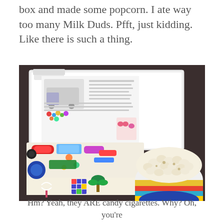box and made some popcorn. I ate way too many Milk Duds. Pfft, just kidding. Like there is such a thing.
[Figure (photo): An open decorative candy box filled with various candies and snacks, next to a colorful striped bowl filled with popcorn, sitting on a dark table.]
Hm? Yeah, they ARE candy cigarettes. Why? Oh, you're